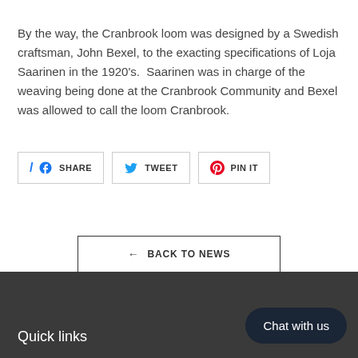By the way, the Cranbrook loom was designed by a Swedish craftsman, John Bexel, to the exacting specifications of Loja Saarinen in the 1920's.  Saarinen was in charge of the weaving being done at the Cranbrook Community and Bexel was allowed to call the loom Cranbrook.
[Figure (other): Social share buttons: SHARE (Facebook), TWEET (Twitter), PIN IT (Pinterest)]
[Figure (other): Back to News button with left arrow]
Quick links